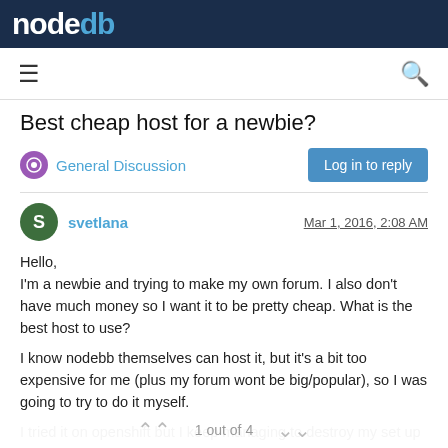nodebb
Best cheap host for a newbie?
General Discussion
Log in to reply
svetlana · Mar 1, 2016, 2:08 AM
Hello,
I'm a newbie and trying to make my own forum. I also don't have much money so I want it to be pretty cheap. What is the best host to use?

I know nodebb themselves can host it, but it's a bit too expensive for me (plus my forum wont be big/popular), so I was going to try to do it myself.

I tried it on openshift but I keep managing to destroy my set up (i tried adding a plugin and now it's dead).. so was thinking of trying some place else, is there a good place to try this?
1 out of 4